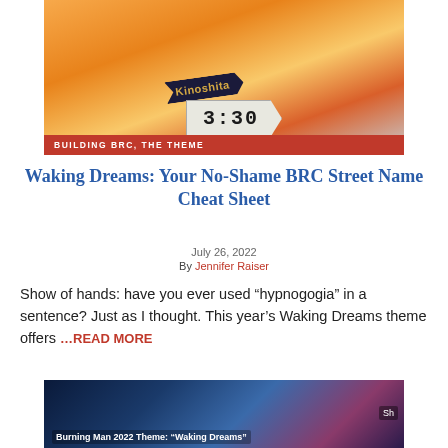[Figure (photo): Street sign at Burning Man showing a 'Kinoshita' directional sign and a '3:30' circuit-board styled arrow sign against a golden sunset sky, with an orange banner reading 'BUILDING BRC, THE THEME']
Waking Dreams: Your No-Shame BRC Street Name Cheat Sheet
July 26, 2022
By Jennifer Raiser
Show of hands: have you ever used “hypnogogia” in a sentence? Just as I thought. This year’s Waking Dreams theme offers …READ MORE
[Figure (screenshot): Video thumbnail showing text 'Burning Man 2022 Theme: "Waking Dreams"' with colorful imagery of flowers and a blimp]